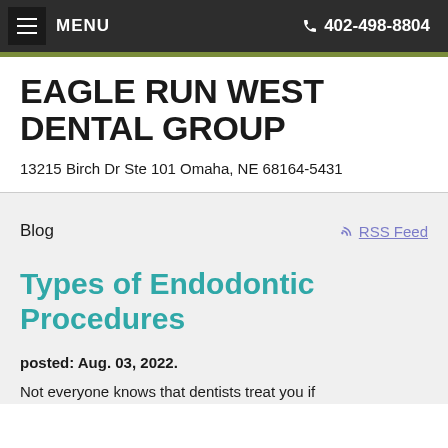☰ MENU   📞 402-498-8804
EAGLE RUN WEST DENTAL GROUP
13215 Birch Dr Ste 101 Omaha, NE 68164-5431
Blog
RSS Feed
Types of Endodontic Procedures
posted: Aug. 03, 2022.
Not everyone knows that dentists treat you if...